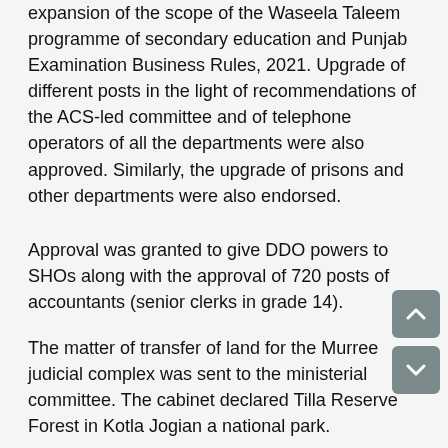expansion of the scope of the Waseela Taleem programme of secondary education and Punjab Examination Business Rules, 2021. Upgrade of different posts in the light of recommendations of the ACS-led committee and of telephone operators of all the departments were also approved. Similarly, the upgrade of prisons and other departments were also endorsed.
Approval was granted to give DDO powers to SHOs along with the approval of 720 posts of accountants (senior clerks in grade 14).
The matter of transfer of land for the Murree judicial complex was sent to the ministerial committee. The cabinet declared Tilla Reserve Forest in Kotla Jogian a national park.
Transfer of land for a model police station, arazi centre and Rescue 1122 station in Gujrat area of Kot Addu was approved.